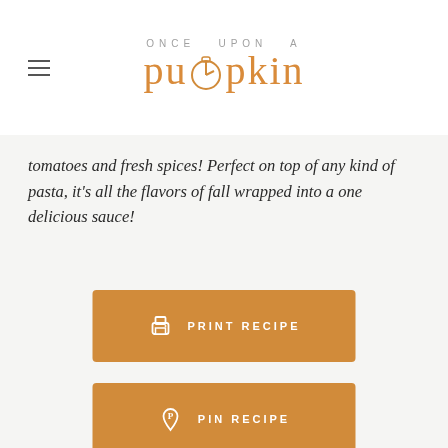ONCE UPON A pumpkin
tomatoes and fresh spices! Perfect on top of any kind of pasta, it's all the flavors of fall wrapped into a one delicious sauce!
[Figure (other): Orange button labeled PRINT RECIPE with printer icon]
[Figure (other): Orange button labeled PIN RECIPE with Pinterest P icon]
[Figure (other): Circular timer/clock icon centered between two horizontal divider lines]
PREP TIME
5 mins
COOK TIME
20 mins